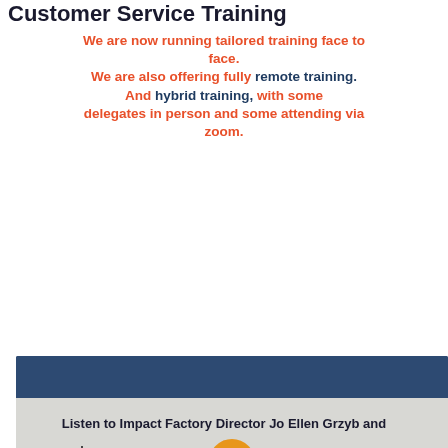Customer Service Training
We are now running tailored training face to face. We are also offering fully remote training. And hybrid training, with some delegates in person and some attending via zoom.
[Figure (photo): Video player showing a training session with a presenter standing in a room with flipcharts and a seated delegate. Orange play button overlay. Navigation arrows and dot indicators visible.]
Listen to Impact Factory Director Jo Ellen Grzyb and